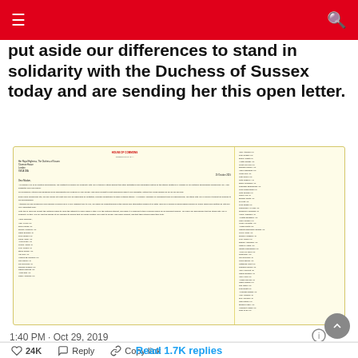put aside our differences to stand in solidarity with the Duchess of Sussex today and are sending her this open letter.
[Figure (screenshot): A scanned image of a House of Commons letter addressed to Her Royal Highness The Duchess of Sussex, signed by numerous MPs expressing solidarity with her. The letter is on pale yellow stationery with the House of Commons header in red. Two columns of MP signatures are visible.]
1:40 PM · Oct 29, 2019
24K  Reply  Copy link
Read 1.7K replies